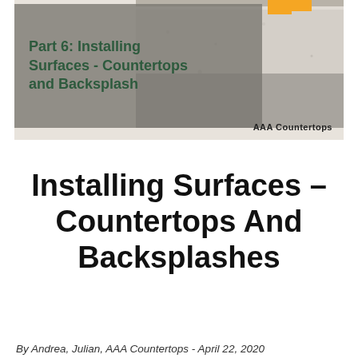[Figure (photo): Blog post thumbnail image for 'Part 6: Installing Surfaces - Countertops and Backsplash' by AAA Countertops. Shows a countertop/backsplash surface photo with a gray semi-transparent overlay on the left containing the title text in dark green, and the AAA Countertops brand label at the bottom right.]
Installing Surfaces – Countertops And Backsplashes
By Andrea, Julian, AAA Countertops - April 22, 2020